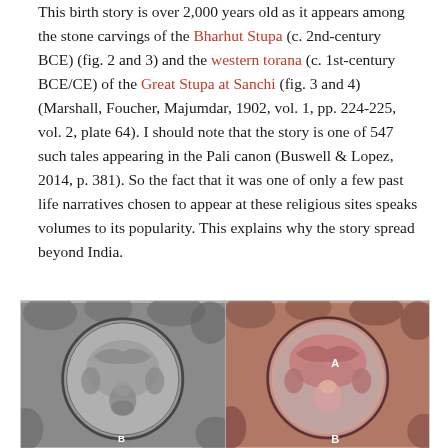This birth story is over 2,000 years old as it appears among the stone carvings of the Bharhut Stupa (c. 2nd-century BCE) (fig. 2 and 3) and the western torana (c. 1st-century BCE/CE) of the Great Stupa at Sanchi (fig. 3 and 4) (Marshall, Foucher, Majumdar, 1902, vol. 1, pp. 224-225, vol. 2, plate 64). I should note that the story is one of 547 such tales appearing in the Pali canon (Buswell & Lopez, 2014, p. 381). So the fact that it was one of only a few past life narratives chosen to appear at these religious sites speaks volumes to its popularity. This explains why the story spread beyond India.
[Figure (photo): Two circular stone carving medallions side by side. Left: black and white photograph of a carved stone medallion from Bharhut Stupa showing figures in a circular scene. Right: colorized version of a similar medallion with pink/red tones highlighting the carved figures, with labels A and B marking specific areas.]